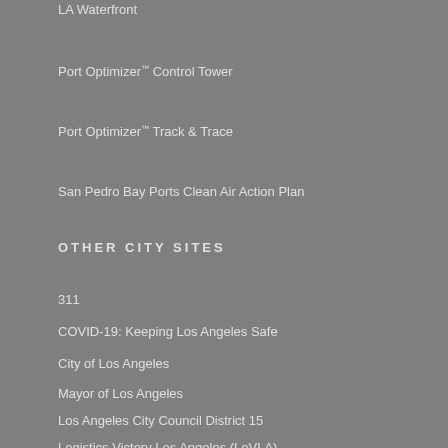LA Waterfront
Port Optimizer™ Control Tower
Port Optimizer™ Track & Trace
San Pedro Bay Ports Clean Air Action Plan
OTHER CITY SITES
311
COVID-19: Keeping Los Angeles Safe
City of Los Angeles
Mayor of Los Angeles
Los Angeles City Council District 15
Logistics Victory Los Angeles (LoVLA)